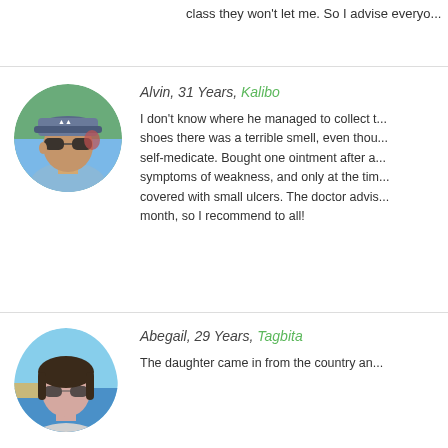class they won't let me. So I advise everyo...
Alvin, 31 Years, Kalibo
I don't know where he managed to collect t... shoes there was a terrible smell, even thou... self-medicate. Bought one ointment after a... symptoms of weakness, and only at the tim... covered with small ulcers. The doctor advis... month, so I recommend to all!
[Figure (photo): Circular profile photo of Alvin, a man wearing sunglasses and a cap, outdoors]
Abegail, 29 Years, Tagbita
The daughter came in from the country an...
[Figure (photo): Circular profile photo of Abegail, a woman wearing sunglasses at the beach]